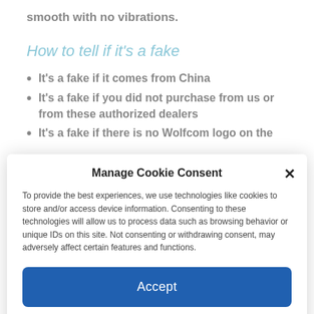smooth with no vibrations.
How to tell if it's a fake
It's a fake if it comes from China
It's a fake if you did not purchase from us or from these authorized dealers
It's a fake if there is no Wolfcom logo on the
Manage Cookie Consent
To provide the best experiences, we use technologies like cookies to store and/or access device information. Consenting to these technologies will allow us to process data such as browsing behavior or unique IDs on this site. Not consenting or withdrawing consent, may adversely affect certain features and functions.
Accept
Cookie Policy   Privacy Policy